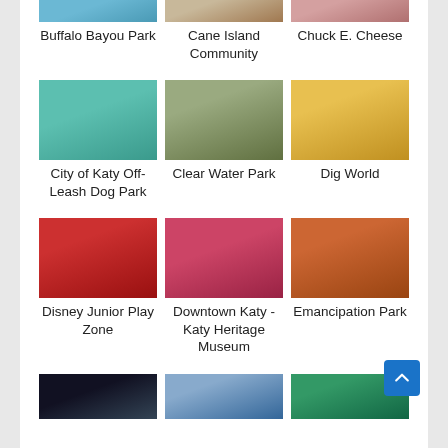[Figure (photo): Buffalo Bayou Park photo (partially cropped at top)]
[Figure (photo): Cane Island Community photo (partially cropped at top)]
[Figure (photo): Chuck E. Cheese photo (partially cropped at top)]
Buffalo Bayou Park
Cane Island Community
Chuck E. Cheese
[Figure (photo): City of Katy Off-Leash Dog Park - green lake/park photo]
[Figure (photo): Clear Water Park - playground photo]
[Figure (photo): Dig World - yellow excavator photo]
City of Katy Off-Leash Dog Park
Clear Water Park
Dig World
[Figure (photo): Disney Junior Play Zone - indoor venue with red decor]
[Figure (photo): Downtown Katy - Katy Heritage Museum - red floral display]
[Figure (photo): Emancipation Park - modern orange building exterior]
Disney Junior Play Zone
Downtown Katy -Katy Heritage Museum
Emancipation Park
[Figure (photo): Bottom row partial photo 1 - dark interior]
[Figure (photo): Bottom row partial photo 2 - blue sky building]
[Figure (photo): Bottom row partial photo 3 - green shade structure]